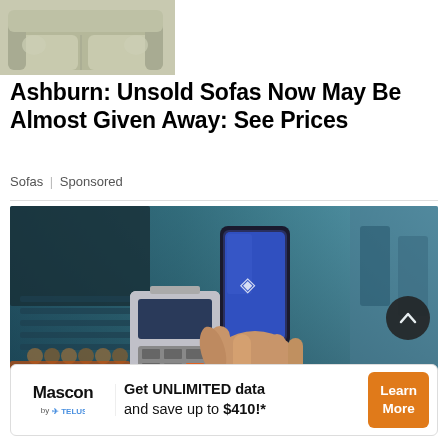[Figure (photo): Partial image of a beige/green sofa top cropped at top of page]
Ashburn: Unsold Sofas Now May Be Almost Given Away: See Prices
Sofas | Sponsored
[Figure (photo): Person tapping a smartphone on a payment terminal at a point-of-sale counter, blurred retail background]
[Figure (infographic): Mascon by TELUS advertisement banner: Get UNLIMITED data and save up to $410!* Learn More]